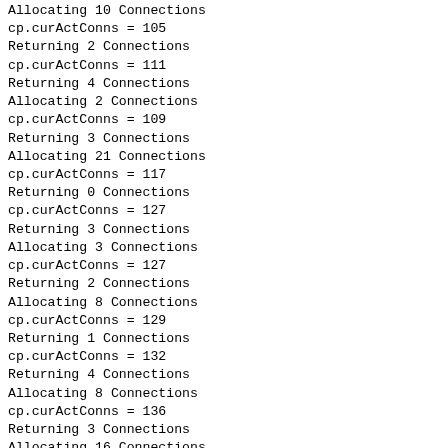Allocating 10 Connections
cp.curActConns = 105
Returning 2 Connections
cp.curActConns = 111
Returning 4 Connections
Allocating 2 Connections
cp.curActConns = 109
Returning 3 Connections
Allocating 21 Connections
cp.curActConns = 117
Returning 0 Connections
cp.curActConns = 127
Returning 3 Connections
Allocating 3 Connections
cp.curActConns = 127
Returning 2 Connections
Allocating 8 Connections
cp.curActConns = 129
Returning 1 Connections
cp.curActConns = 132
Returning 4 Connections
Allocating 8 Connections
cp.curActConns = 136
Returning 3 Connections
Allocating 16 Connections
cp.curActConns = 141
Returning 2 Connections
cp.curActConns = 147
Returning 3 Connections
Allocating 11 Connections
cp.curActConns = 153